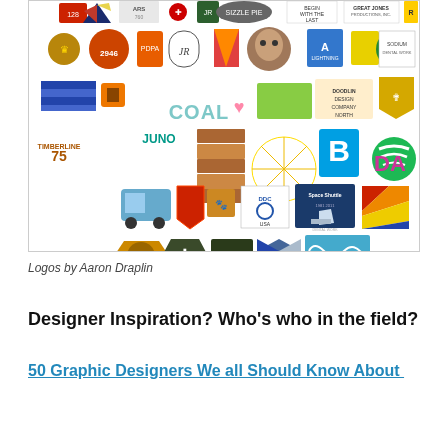[Figure (illustration): A collage of many logos by Aaron Draplin arranged in a heart shape on white background. Includes logos for brands like Patagonia, Spotify, Coal, Juno, Space Shuttle 1981-2011, Sizzle Pie, Great Jones Productions, Timberline 75, and many other colorful badge and brand logos.]
Logos by Aaron Draplin
Designer Inspiration? Who's who in the field?
50 Graphic Designers We all Should Know About